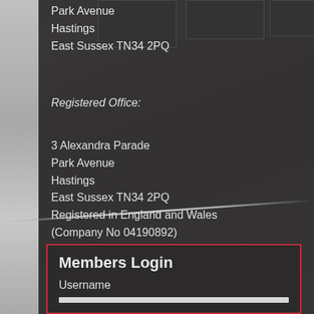Park Avenue
Hastings
East Sussex TN34 2PQ
Registered Office:
3 Alexandra Parade
Park Avenue
Hastings
East Sussex TN34 2PQ
Registered in England and Wales
(Company No 04190892)
Members Login
Username